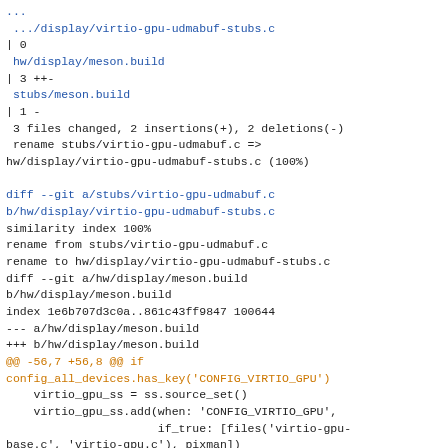diff --git file listing and patch content for virtio-gpu-udmabuf-stubs.c rename and meson.build modification